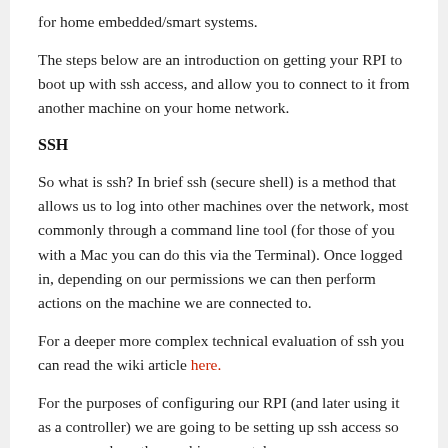for home embedded/smart systems.
The steps below are an introduction on getting your RPI to boot up with ssh access, and allow you to connect to it from another machine on your home network.
SSH
So what is ssh? In brief ssh (secure shell) is a method that allows us to log into other machines over the network, most commonly through a command line tool (for those of you with a Mac you can do this via the Terminal). Once logged in, depending on our permissions we can then perform actions on the machine we are connected to.
For a deeper more complex technical evaluation of ssh you can read the wiki article here.
For the purposes of configuring our RPI (and later using it as a controller) we are going to be setting up ssh access so we can work on the machine remotely.